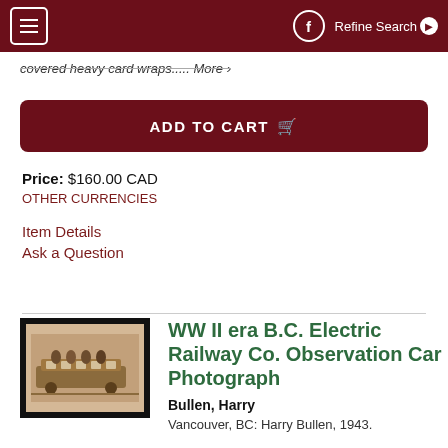Menu | Facebook | Refine Search
covered heavy card wraps..... More >
ADD TO CART
Price: $160.00 CAD
OTHER CURRENCIES
Item Details
Ask a Question
[Figure (photo): Sepia photograph of a railway observation car with passengers, mounted in a black frame]
WW II era B.C. Electric Railway Co. Observation Car Photograph
Bullen, Harry
Vancouver, BC: Harry Bullen, 1943.